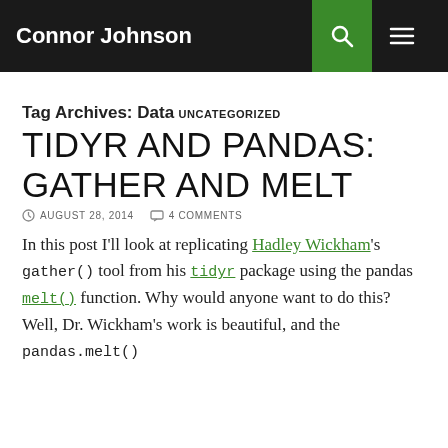Connor Johnson
Tag Archives: Data
UNCATEGORIZED
TIDYR AND PANDAS: GATHER AND MELT
AUGUST 28, 2014   4 COMMENTS
In this post I'll look at replicating Hadley Wickham's gather() tool from his tidyr package using the pandas melt() function. Why would anyone want to do this? Well, Dr. Wickham's work is beautiful, and the pandas.melt()